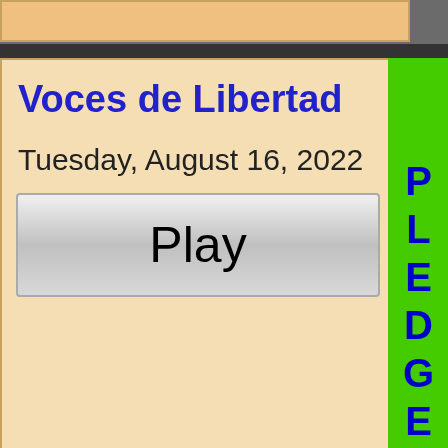[Figure (screenshot): Radio program listing UI screenshot showing two program cards. First card has peach/tan background with 'Voces de Libertad' title in blue bold, date 'Tuesday, August 16, 2022', and a Play button. Green 'PLEDGE' vertical button on right. Second card has lavender background with 'Sojourner Truth' title in blue bold, date 'Tuesday, August 16, 2022', and a Play button. Gray 'PAUSE' vertical button on right.]